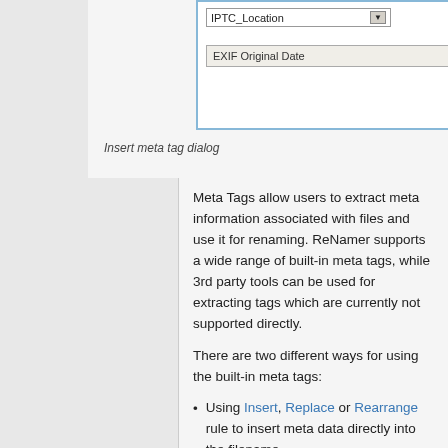[Figure (screenshot): Dialog box showing IPTC_Location dropdown and EXIF Original Date text field, representing the Insert meta tag dialog]
Insert meta tag dialog
Meta Tags allow users to extract meta information associated with files and use it for renaming. ReNamer supports a wide range of built-in meta tags, while 3rd party tools can be used for extracting tags which are currently not supported directly.
There are two different ways for using the built-in meta tags:
Using Insert, Replace or Rearrange rule to insert meta data directly into the filename,